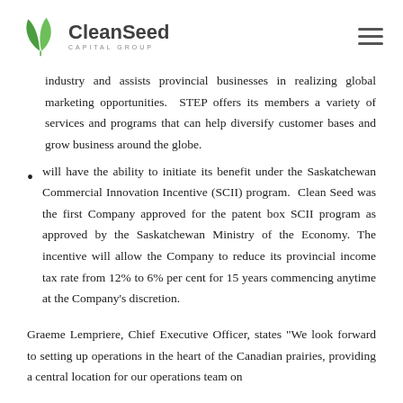CleanSeed Capital Group
industry and assists provincial businesses in realizing global marketing opportunities.  STEP offers its members a variety of services and programs that can help diversify customer bases and grow business around the globe.
will have the ability to initiate its benefit under the Saskatchewan Commercial Innovation Incentive (SCII) program.  Clean Seed was the first Company approved for the patent box SCII program as approved by the Saskatchewan Ministry of the Economy. The incentive will allow the Company to reduce its provincial income tax rate from 12% to 6% per cent for 15 years commencing anytime at the Company's discretion.
Graeme Lempriere, Chief Executive Officer, states "We look forward to setting up operations in the heart of the Canadian prairies, providing a central location for our operations team on